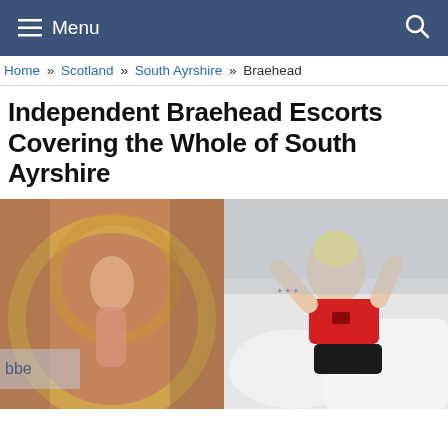Menu
Home » Scotland » South Ayrshire » Braehead
Independent Braehead Escorts Covering the Whole of South Ayrshire
[Figure (photo): Two photos side by side: left shows a woman with red hair posing with a hula hoop in a bikini; right shows a blonde woman in a red crop top and black shorts sitting on a bed.]